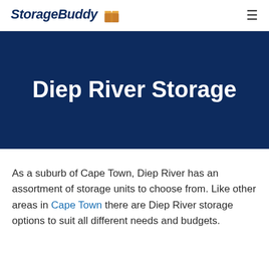StorageBuddy [box icon] ≡
Diep River Storage
As a suburb of Cape Town, Diep River has an assortment of storage units to choose from. Like other areas in Cape Town there are Diep River storage options to suit all different needs and budgets.